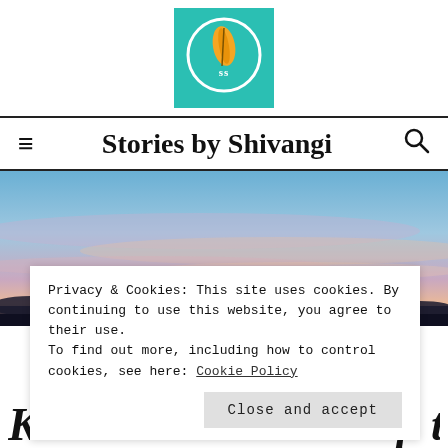[Figure (logo): Stories by Shivangi logo: teal square background with white circle containing an orange feather and 'SS' text]
Stories by Shivangi
[Figure (photo): Sunset sky with blue and pink/orange clouds and dark silhouetted landscape at bottom]
Privacy & Cookies: This site uses cookies. By continuing to use this website, you agree to their use.
To find out more, including how to control cookies, see here: Cookie Policy
Close and accept
Know mummies wrap toilet